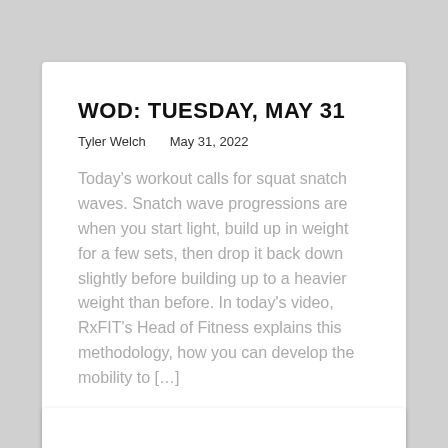WOD: TUESDAY, MAY 31
Tyler Welch    May 31, 2022
Today's workout calls for squat snatch waves. Snatch wave progressions are when you start light, build up in weight for a few sets, then drop it back down slightly before building up to a heavier weight than before. In today's video, RxFIT's Head of Fitness explains this methodology, how you can develop the mobility to […]
READ MORE